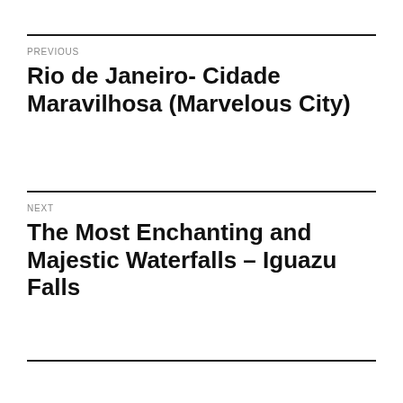PREVIOUS
Rio de Janeiro- Cidade Maravilhosa (Marvelous City)
NEXT
The Most Enchanting and Majestic Waterfalls – Iguazu Falls